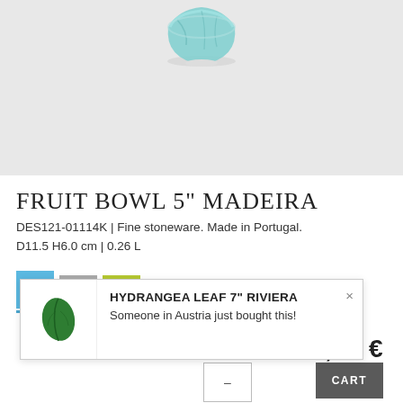[Figure (photo): Partial view of a teal/turquoise ceramic fruit bowl on a light gray background, cropped showing the top portion of the bowl.]
FRUIT BOWL 5" MADEIRA
DES121-01114K | Fine stoneware. Made in Portugal.
D11.5 H6.0 cm | 0.26 L
[Figure (other): Three color swatches: blue (selected, with underline bar), gray, and lime/yellow-green.]
8,00 €
[Figure (photo): Popup notification showing a green hydrangea leaf product image thumbnail with text: HYDRANGEA LEAF 7" RIVIERA — Someone in Austria just bought this!]
HYDRANGEA LEAF 7" RIVIERA
Someone in Austria just bought this!